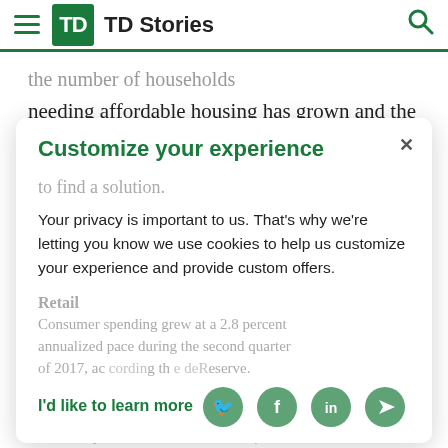TD Stories
the number of households needing affordable housing has grown and the supply has not kept pace. In the years ahead, the industry will need to pursue
Customize your experience
to find a solution.
Your privacy is important to us. That's why we're letting you know we use cookies to help us customize your experience and provide custom offers.
Retail
Consumer spending grew at a 2.8 percent annualized pace during the second quarter of 2017, according to the Federal Reserve.
I'd like to learn more
That expansion marks a return of consumer-